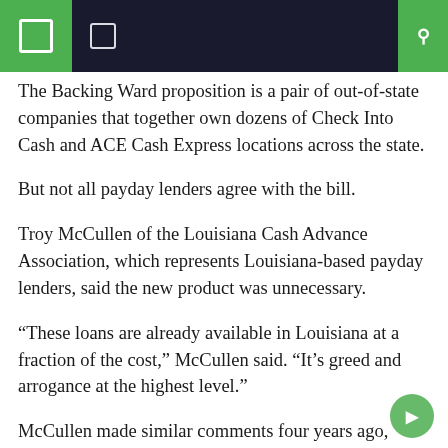Navigation header bar
The Backing Ward proposition is a pair of out-of-state companies that together own dozens of Check Into Cash and ACE Cash Express locations across the state.
But not all payday lenders agree with the bill.
Troy McCullen of the Louisiana Cash Advance Association, which represents Louisiana-based payday lenders, said the new product was unnecessary.
“These loans are already available in Louisiana at a fraction of the cost,” McCullen said. “It’s greed and arrogance at the highest level.”
McCullen made similar comments four years ago, when Ward sponsored a different measure to allow payday lenders to offer longer-term installment loans. This measure failed